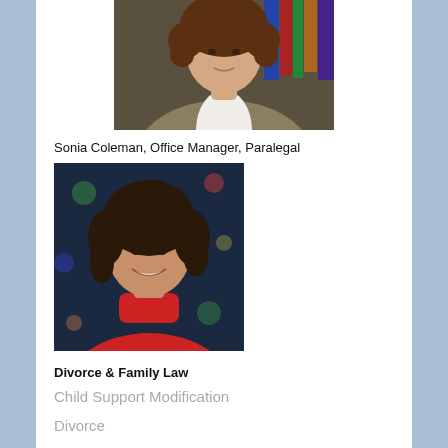[Figure (photo): Professional headshot of a woman with curly hair wearing a blazer, standing in front of bookshelves]
Sonia Coleman, Office Manager, Paralegal
[Figure (photo): Photo of a woman with dark wavy hair wearing a red turtleneck sweater, smiling, with a festive background]
Divorce & Family Law
Child Support Modification
Divorce